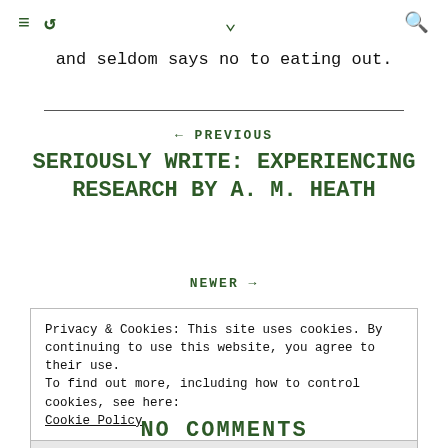≡ ↺ ∨ Q
and seldom says no to eating out.
← PREVIOUS
SERIOUSLY WRITE: EXPERIENCING RESEARCH BY A. M. HEATH
NEWER →
Privacy & Cookies: This site uses cookies. By continuing to use this website, you agree to their use.
To find out more, including how to control cookies, see here: Cookie Policy
Close and accept
NO COMMENTS